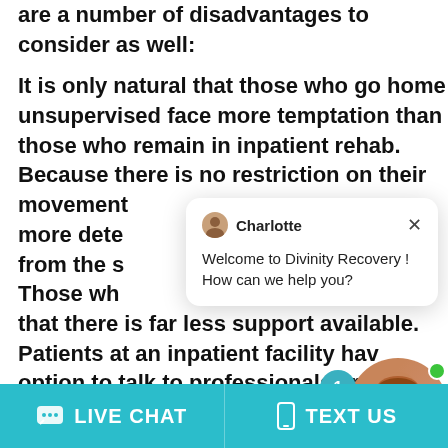are a number of disadvantages to consider as well:
It is only natural that those who go home unsupervised face more temptation than those who remain in inpatient rehab. Because there is no restriction on their movement, it means they have to be more determined to keep their distance from the substances they were addicted to. Those who go home may also find that there is far less support available. Patients at an inpatient facility have the option to talk to professionals around the clock. It may feel empowering to be in proximity to others who all share the same
[Figure (screenshot): Chat popup from Charlotte agent: 'Welcome to Divinity Recovery ! How can we help you?' with close button, notification bubble showing '1', and agent photo with Online Agent label]
LIVE CHAT   TEXT US